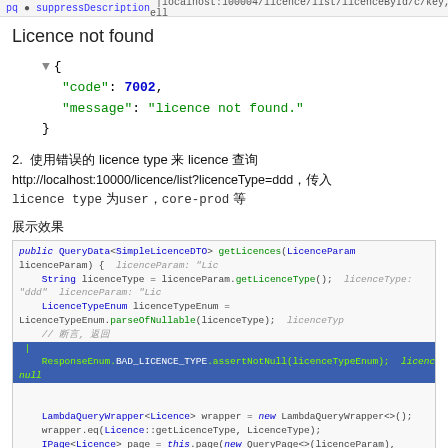pq ● suppressDescription | localnost:100004/licence/list/licenceById/c/key, ell
Licence not found
[Figure (screenshot): JSON block showing: { "code": 7002, "message": "licence not found." }]
2. 使用错误的 licence type 来 licence 查询
http://localhost:10000/licence/list?licenceType=ddd，传入
licence type 为user，core-prod 等
展示效果
[Figure (screenshot): Code screenshot showing getLicences method with highlighted line: ResponseEnum.BAD_LICENCE_TYPE.assertNotNull(licenceTypeEnum); licenceTypeEnum: null]
抛出 Bad licence type 异常
[Figure (screenshot): @ExceptionHandler(value = BusinessException.class) @ResponseBody]